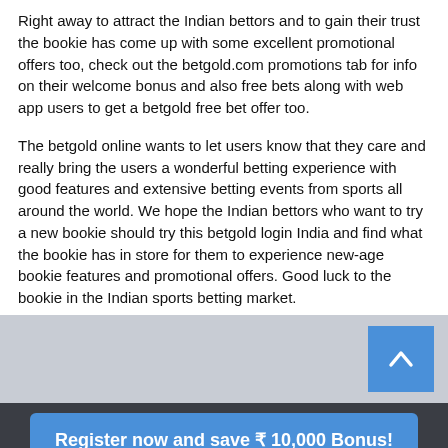Right away to attract the Indian bettors and to gain their trust the bookie has come up with some excellent promotional offers too, check out the betgold.com promotions tab for info on their welcome bonus and also free bets along with web app users to get a betgold free bet offer too.
The betgold online wants to let users know that they care and really bring the users a wonderful betting experience with good features and extensive betting events from sports all around the world. We hope the Indian bettors who want to try a new bookie should try this betgold login India and find what the bookie has in store for them to experience new-age bookie features and promotional offers. Good luck to the bookie in the Indian sports betting market.
Register now and save ₹ 10,000 Bonus!
Sportsbetting Bonus
News   Bookmakers   Bonus